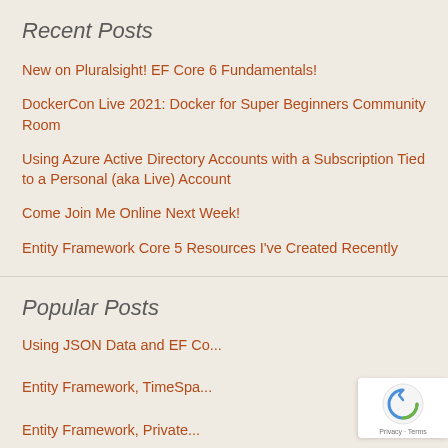Recent Posts
New on Pluralsight! EF Core 6 Fundamentals!
DockerCon Live 2021: Docker for Super Beginners Community Room
Using Azure Active Directory Accounts with a Subscription Tied to a Personal (aka Live) Account
Come Join Me Online Next Week!
Entity Framework Core 5 Resources I've Created Recently
Popular Posts
Using JSON Data and EF Co...
Entity Framework, TimeSpa...
Entity Framework, Private...